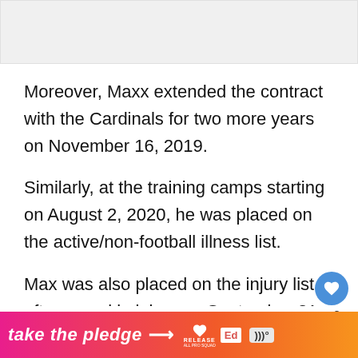[Figure (other): Image placeholder area at top of page (light gray box)]
Moreover, Maxx extended the contract with the Cardinals for two more years on November 16, 2019.
Similarly, at the training camps starting on August 2, 2020, he was placed on the active/non-football illness list.
Max was also placed on the injury list after an ankle injury on September 21, 2020. After a co...
[Figure (other): Banner advertisement: take the pledge with arrow, Release logo, Ed logo, Wave logo]